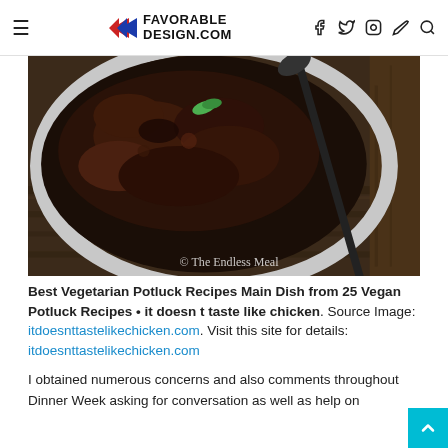FAVORABLE DESIGN.COM — navigation bar with hamburger menu and social icons
[Figure (photo): Dark braised or stewed food in a round metal pot/bowl with a spoon, garnished with green herb, placed on a rustic wooden surface. Watermark reads '© The Endless Meal']
Best Vegetarian Potluck Recipes Main Dish from 25 Vegan Potluck Recipes • it doesn t taste like chicken. Source Image: itdoesnttastelikechicken.com. Visit this site for details: itdoesnttastelikechicken.com
I obtained numerous concerns and also comments throughout Dinner Week asking for conversation as well as help on